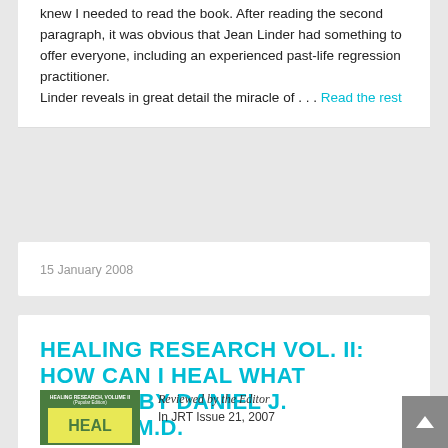knew I needed to read the book. After reading the second paragraph, it was obvious that Jean Linder had something to offer everyone, including an experienced past-life regression practitioner. Linder reveals in great detail the miracle of … Read the rest
15 January 2008
HEALING RESEARCH VOL. II: HOW CAN I HEAL WHAT HURTS? BY DANIEL J. BENOR, M.D.
[Figure (photo): Book cover of Healing Research Volume II (Popular Edition) with green cover and yellow inner section showing the word HEAL]
Reviewed by the Editor
In JRT Issue 21, 2007